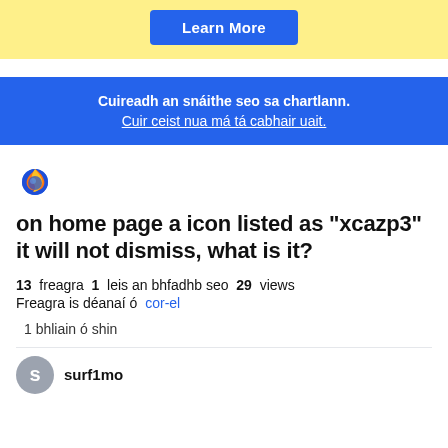[Figure (other): Yellow banner with a blue 'Learn More' button]
Cuireadh an snáithe seo sa chartlann.
Cuir ceist nua má tá cabhair uait.
[Figure (logo): Firefox browser logo icon]
on home page a icon listed as "xcazp3" it will not dismiss, what is it?
13 freagra  1 leis an bhfadhb seo  29 views
Freagra is déanaí ó cor-el
1 bhliain ó shin
surf1mo